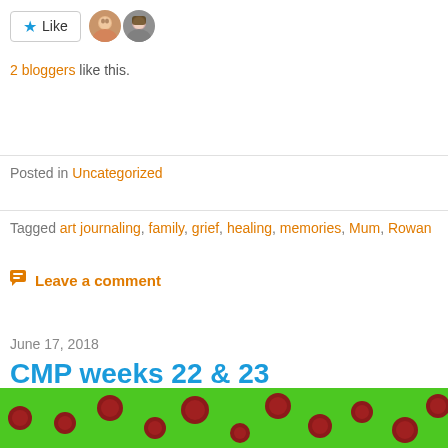[Figure (other): Like button with star icon and two blogger avatar photos]
2 bloggers like this.
Posted in Uncategorized
Tagged art journaling, family, grief, healing, memories, Mum, Rowan
Leave a comment
June 17, 2018
CMP weeks 22 & 23
I didn't do the #colourmepositive challenge last weekend so have nice distraction from other more domestic things. For the first tim dog ownership, I'm having serious flea issues. We have flea spraye bedding, rugs, dog toys, sprayed furniture and so on. Hopefully it' the vet again tomorrow for a chekcup re her many medical proble
[Figure (photo): Green background with red circular spots/dots pattern, bottom of page]